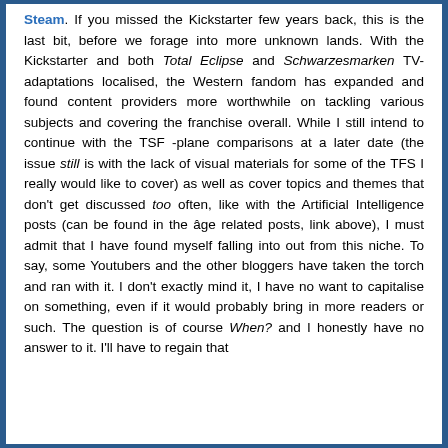Steam. If you missed the Kickstarter few years back, this is the last bit, before we forage into more unknown lands. With the Kickstarter and both Total Eclipse and Schwarzesmarken TV-adaptations localised, the Western fandom has expanded and found content providers more worthwhile on tackling various subjects and covering the franchise overall. While I still intend to continue with the TSF -plane comparisons at a later date (the issue still is with the lack of visual materials for some of the TFS I really would like to cover) as well as cover topics and themes that don't get discussed too often, like with the Artificial Intelligence posts (can be found in the âge related posts, link above), I must admit that I have found myself falling into out from this niche. To say, some Youtubers and the other bloggers have taken the torch and ran with it. I don't exactly mind it, I have no want to capitalise on something, even if it would probably bring in more readers or such. The question is of course When? and I honestly have no answer to it. I'll have to regain that